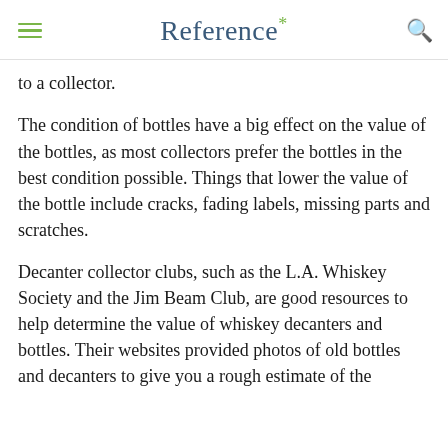Reference*
to a collector.
The condition of bottles have a big effect on the value of the bottles, as most collectors prefer the bottles in the best condition possible. Things that lower the value of the bottle include cracks, fading labels, missing parts and scratches.
Decanter collector clubs, such as the L.A. Whiskey Society and the Jim Beam Club, are good resources to help determine the value of whiskey decanters and bottles. Their websites provided photos of old bottles and decanters to give you a rough estimate of the